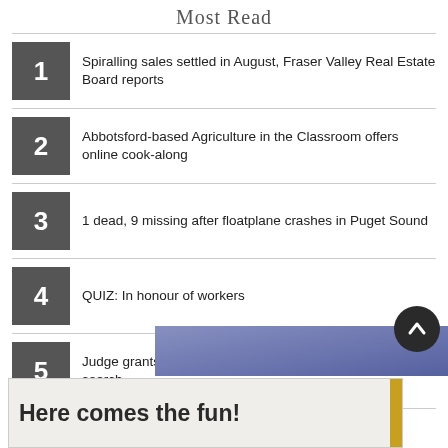Most Read
1 Spiralling sales settled in August, Fraser Valley Real Estate Board reports
2 Abbotsford-based Agriculture in the Classroom offers online cook-along
3 1 dead, 9 missing after floatplane crashes in Puget Sound
4 QUIZ: In honour of workers
5 Judge grants Trump bid for special master in document search
[Figure (screenshot): Blue/purple gradient advertisement banner area with scroll-to-top button]
[Figure (advertisement): Ad banner with text 'Here comes the fun!' on light background with yellow accent]